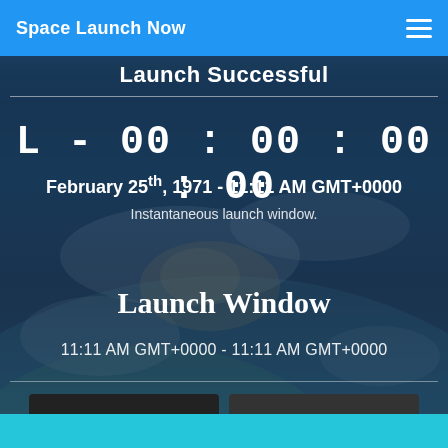Space Launch Now
Launch Successful
L - 00 : 00 : 00 : 00
February 25th, 1971 - 11:11 AM GMT+0000
Instantaneous launch window.
Launch Window
11:11 AM GMT+0000 - 11:11 AM GMT+0000